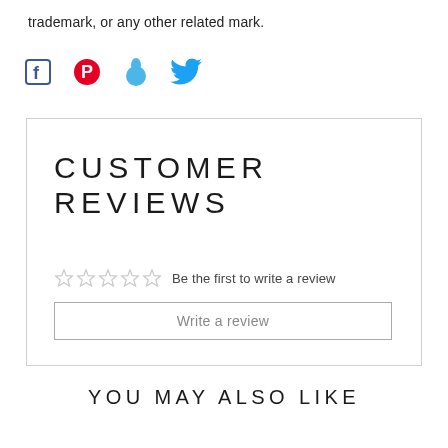trademark, or any other related mark.
[Figure (other): Social media sharing icons: Facebook, Pinterest, Fancy (pin/tag), Twitter]
CUSTOMER REVIEWS
☆☆☆☆☆  Be the first to write a review
Write a review
YOU MAY ALSO LIKE